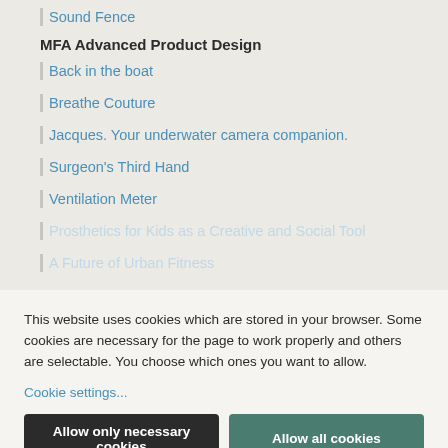Sound Fence
MFA Advanced Product Design
Back in the boat
Breathe Couture
Jacques. Your underwater camera companion.
Surgeon's Third Hand
Ventilation Meter
Prosthetics for Kids as a Creative and Social Tool
A Future of Urban Fitness
This website uses cookies which are stored in your browser. Some cookies are necessary for the page to work properly and others are selectable. You choose which ones you want to allow.
Cookie settings...
Allow only necessary cookies
Allow all cookies